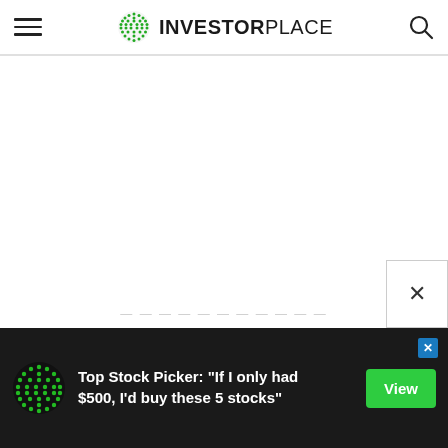InvestorPlace
[Figure (screenshot): InvestorPlace website screenshot showing the site header with hamburger menu, InvestorPlace logo with green globe icon, and search icon. The main content area is blank white. A partial close button popup appears at the bottom right. An advertisement banner at the bottom reads: Top Stock Picker: "If I only had $500, I'd buy these 5 stocks" with a green View button.]
Top Stock Picker: "If I only had $500, I'd buy these 5 stocks"